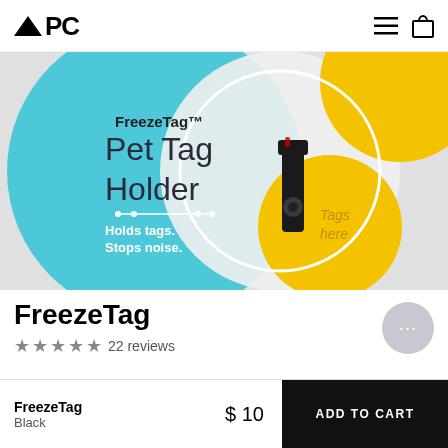APC
[Figure (photo): FreezeTag Pet Tag Holder product packaging image. Shows a teal/cyan circle background with a yellow circle, a black clip-style tag holder, text: FreezeTag Pet Tag Holder, Holds tags. Stops noise. Tags here.]
FreezeTag
★★★★★ 22 reviews
FreezeTag
Black
$10
ADD TO CART